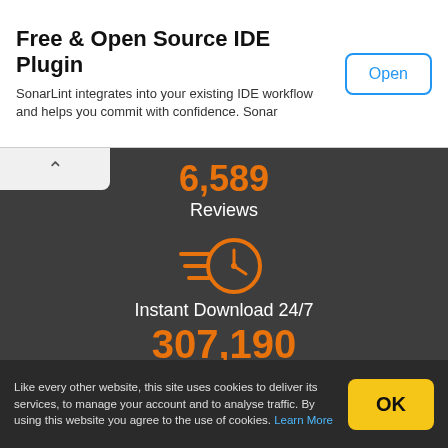Free & Open Source IDE Plugin
SonarLint integrates into your existing IDE workflow and helps you commit with confidence. Sonar
Open
6,589
Reviews
[Figure (illustration): Orange clock icon with speed lines indicating instant download]
Instant Download 24/7
307,190
Members
[Figure (illustration): Orange badge/seal with checkmark icon]
Like every other website, this site uses cookies to deliver its services, to manage your account and to analyse traffic. By using this website you agree to the use of cookies. Learn More
OK